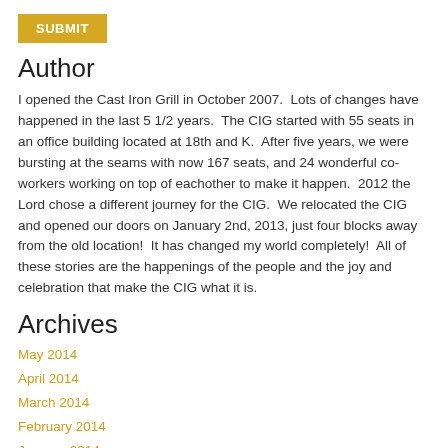SUBMIT
Author
I opened the Cast Iron Grill in October 2007.  Lots of changes have happened in the last 5 1/2 years.  The CIG started with 55 seats in an office building located at 18th and K.  After five years, we were bursting at the seams with now 167 seats, and 24 wonderful co-workers working on top of eachother to make it happen.  2012 the Lord chose a different journey for the CIG.  We relocated the CIG and opened our doors on January 2nd, 2013, just four blocks away from the old location!  It has changed my world completely!  All of these stories are the happenings of the people and the joy and celebration that make the CIG what it is.
Archives
May 2014
April 2014
March 2014
February 2014
January 2014
December 2013